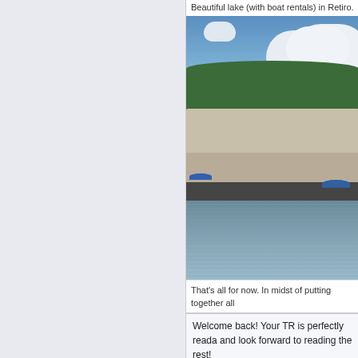Beautiful lake (with boat rentals) in Retiro.
[Figure (photo): Photo of a lake in Retiro Park with a classical colonnade monument, blue boats on the water, trees in the background and a partly cloudy sky.]
That's all for now. In midst of putting together all
Welcome back! Your TR is perfectly reada and look forward to reading the rest!